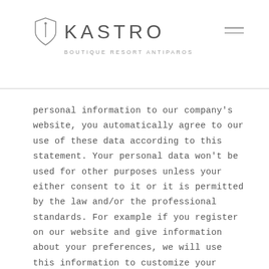KASTRO BOUTIQUE RESORT ANTIPAROS
personal information to our company's website, you automatically agree to our use of these data according to this statement. Your personal data won't be used for other purposes unless your either consent to it or it is permitted by the law and/or the professional standards. For example if you register on our website and give information about your preferences, we will use this information to customize your experience as a user. When you register through a third registration service it is possible that we still identify you as the same user even through different